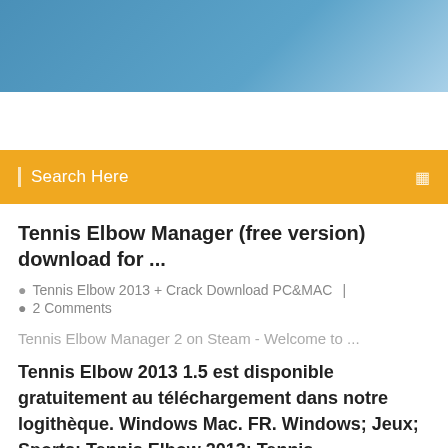[Figure (photo): Blue sky gradient banner image at the top of the page]
[Figure (screenshot): Yellow/orange search bar with 'Search Here' placeholder text and a search icon on the right]
Tennis Elbow Manager (free version) download for ...
Tennis Elbow 2013 + Crack Download PC&MAC   |   2 Comments
Tennis Elbow Manager 2 on Steam - Welcome to ...
Tennis Elbow 2013 1.5 est disponible gratuitement au téléchargement dans notre logithèque. Windows Mac. FR. Windows; Jeux; Sports; Tennis Elbow 2013; Tennis